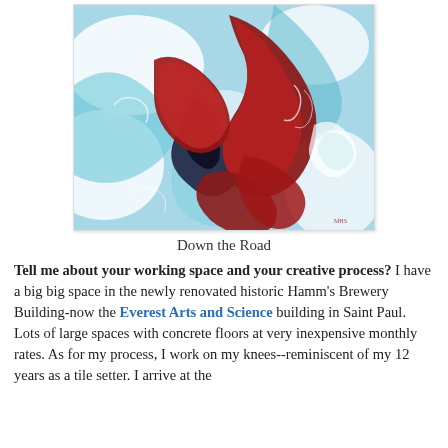[Figure (illustration): Abstract painting with swirling blue, white, red, and black fluid forms, resembling an aerial or liquid texture. The composition features bold red shapes against a turquoise/white background.]
Down the Road
Tell me about your working space and your creative process? I have a big big space in the newly renovated historic Hamm's Brewery Building-now the Everest Arts and Science building in Saint Paul. Lots of large spaces with concrete floors at very inexpensive monthly rates. As for my process, I work on my knees--reminiscent of my 12 years as a tile setter. I arrive at the